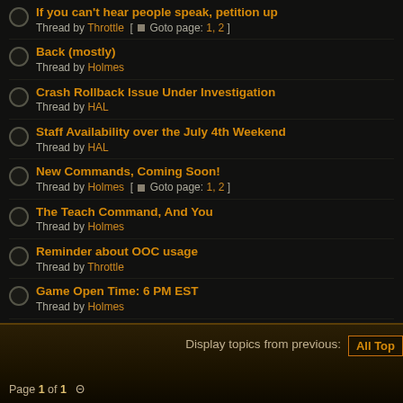If you can't hear people speak, petition up — Thread by Throttle [ Goto page: 1, 2 ]
Back (mostly) — Thread by Holmes
Crash Rollback Issue Under Investigation — Thread by HAL
Staff Availability over the July 4th Weekend — Thread by HAL
New Commands, Coming Soon! — Thread by Holmes [ Goto page: 1, 2 ]
The Teach Command, And You — Thread by Holmes
Reminder about OOC usage — Thread by Throttle
Game Open Time: 6 PM EST — Thread by Holmes
Chargen open! — Thread by Holmes
Rust — Thread by Implementor [ Goto page: 1 ... 5, 6, 7 ]
Check out the wiki — Thread by Implementor
For the Future — Thread by Implementor [ Goto page: 1 ... 6, 7, 8 ]
Display topics from previous: All Top  Page 1 of 1